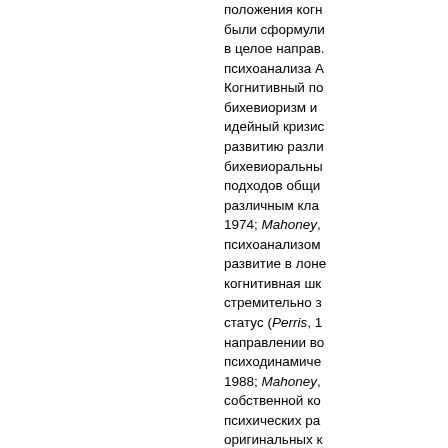положения когн были сформули в целое направ. психоанализа А Когнитивный по бихевиоризм и идейный кризис развитию разли бихевиоральны подходов общи различным кла 1974; Mahoney, психоанализом развитие в лоне когнитивная шк стремительно з статус (Perris, 1 направлении во психодинамиче 1988; Mahoney, собственной ко психических ра оригинальных к использовании 1990).
С нашей точки з можно себе пре когнитивной пси